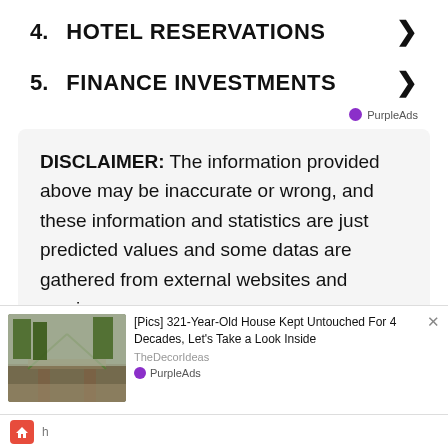4. HOTEL RESERVATIONS ❯
5. FINANCE INVESTMENTS ❯
DISCLAIMER: The information provided above may be inaccurate or wrong, and these information and statistics are just predicted values and some datas are gathered from external websites and services.
Rec
[Figure (photo): Snowy road through trees with stone gateway, ad popup for TheDecorIdeas article about 321-Year-Old House Kept Untouched For 4 Decades]
[Pics] 321-Year-Old House Kept Untouched For 4 Decades, Let's Take a Look Inside
TheDecorIdeas
PurpleAds